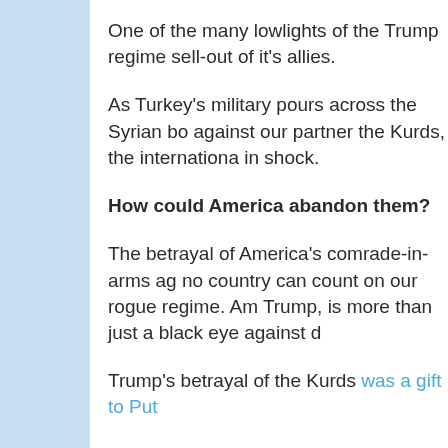One of the many lowlights of the Trump regime sell-out of it's allies.
As Turkey's military pours across the Syrian bo against our partner the Kurds, the internationa in shock.
How could America abandon them?
The betrayal of America's comrade-in-arms ag no country can count on our rogue regime. Am Trump, is more than just a black eye against d
Trump's betrayal of the Kurds was a gift to Put
It's a declaration of nationalism, and isolation. clear after three years under Trump's corrosive